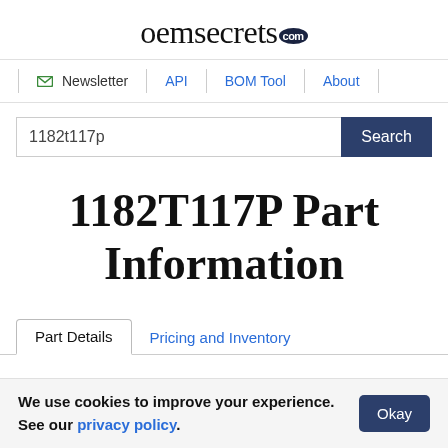oemsecrets.com
Newsletter | API | BOM Tool | About
1182t117p  Search
1182T117P Part Information
Part Details   Pricing and Inventory
We use cookies to improve your experience. See our privacy policy.  Okay